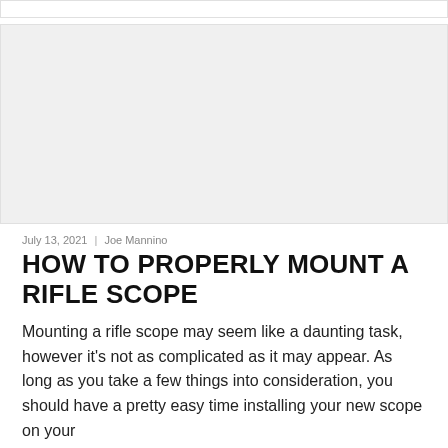[Figure (other): Gray advertisement placeholder block]
July 13, 2021 | Joe Mannino
HOW TO PROPERLY MOUNT A RIFLE SCOPE
Mounting a rifle scope may seem like a daunting task, however it's not as complicated as it may appear. As long as you take a few things into consideration, you should have a pretty easy time installing your new scope on your